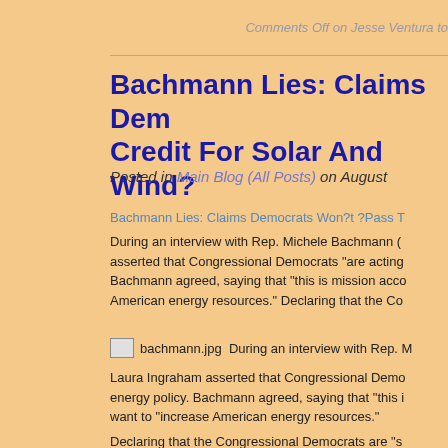Comments Off on Jesse Ventura to
Bachmann Lies: Claims Democrats Won't Pass Tax Credit For Solar And Wind?
Posted in Main Blog (All Posts) on August
Bachmann Lies: Claims Democrats Won?t ?Pass T
During an interview with Rep. Michele Bachmann (asserted that Congressional Democrats "are acting Bachmann agreed, saying that "this is mission acco American energy resources." Declaring that the Co
[Figure (photo): bachmann.jpg placeholder image]
During an interview with Rep. M
Laura Ingraham asserted that Congressional Democrats energy policy. Bachmann agreed, saying that "this is want to "increase American energy resources."
Declaring that the Congressional Democrats are "s "pass the tax credit for solar and wind," despite bei